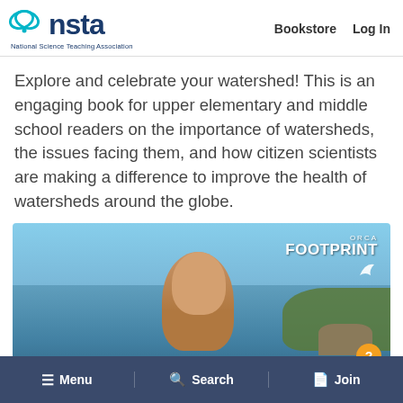[Figure (logo): NSTA National Science Teaching Association logo with teal oval icon and dark blue NSTA text]
Bookstore   Log In
Explore and celebrate your watershed! This is an engaging book for upper elementary and middle school readers on the importance of watersheds, the issues facing them, and how citizen scientists are making a difference to improve the health of watersheds around the globe.
[Figure (photo): A smiling child swimming in water with rocky coastline and trees in the background. ORCA FOOTPRINT logo in top right corner.]
≡ Menu   🔍 Search   Join